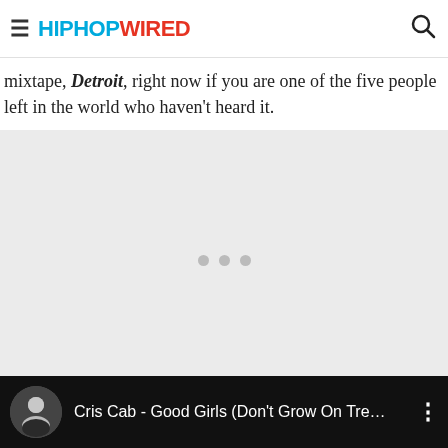HIPHOPWIRED
mixtape, Detroit, right now if you are one of the five people left in the world who haven't heard it.
[Figure (other): Gray advertisement placeholder area with three gray dots in the center]
[Figure (other): Media player bar showing Cris Cab - Good Girls (Don't Grow On Tre... with circular artist thumbnail and three-dot menu]